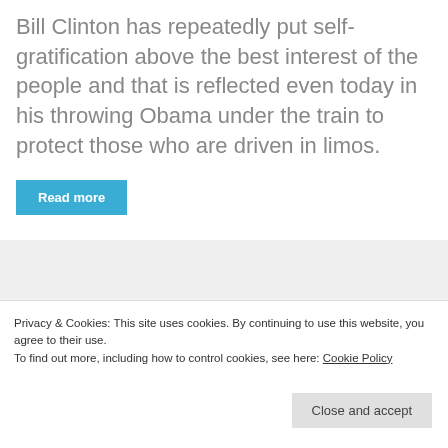Bill Clinton has repeatedly put self-gratification above the best interest of the people and that is reflected even today in his throwing Obama under the train to protect those who are driven in limos.
Read more
Privacy & Cookies: This site uses cookies. By continuing to use this website, you agree to their use.
To find out more, including how to control cookies, see here: Cookie Policy
Close and accept